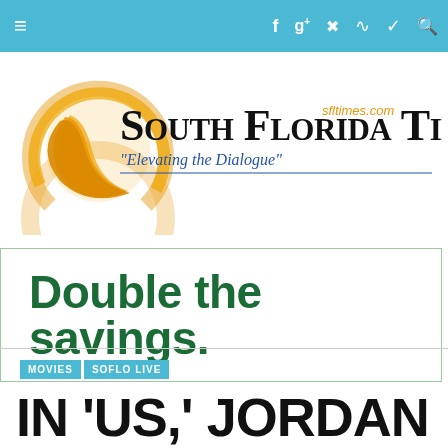Navigation bar with hamburger menu and social icons: Facebook, Google+, Pinterest, RSS, Twitter, Search
[Figure (logo): South Florida Times logo with orange crescent sun graphic, sftimes.com URL in orange, and tagline 'Elevating the Dialogue' in italic blue]
[Figure (infographic): Advertisement banner with text 'Double the savings.' in dark green bold font, framed with light green border]
MOVIES | SOFLO LIVE
IN 'US.' JORDAN